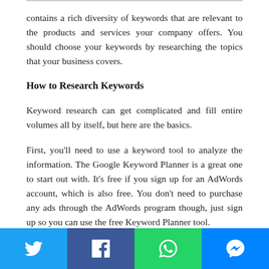contains a rich diversity of keywords that are relevant to the products and services your company offers. You should choose your keywords by researching the topics that your business covers.
How to Research Keywords
Keyword research can get complicated and fill entire volumes all by itself, but here are the basics.
First, you'll need to use a keyword tool to analyze the information. The Google Keyword Planner is a great one to start out with. It's free if you sign up for an AdWords account, which is also free. You don't need to purchase any ads through the AdWords program though, just sign up so you can use the free Keyword Planner tool.